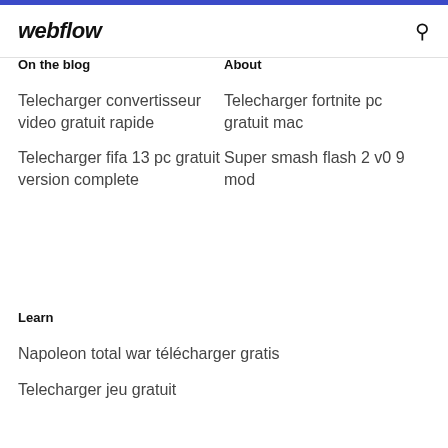webflow
On the blog
About
Telecharger convertisseur video gratuit rapide
Telecharger fifa 13 pc gratuit version complete
Telecharger fortnite pc gratuit mac
Super smash flash 2 v0 9 mod
Learn
Napoleon total war télécharger gratis
Telecharger jeu gratuit